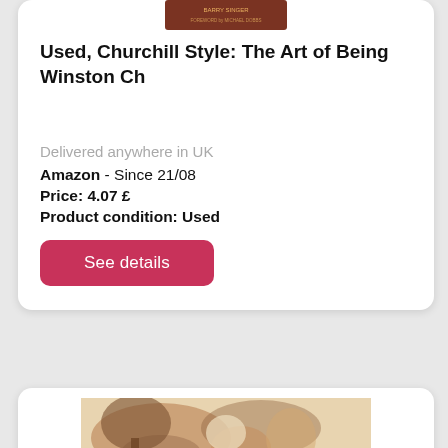[Figure (photo): Book cover image partially visible at top of card, dark reddish-brown color]
Used, Churchill Style: The Art of Being Winston Ch
Delivered anywhere in UK
Amazon  - Since 21/08
Price: 4.07 £
Product condition: Used
See details
[Figure (illustration): Partial view of a second card showing an illustrated image with brown tones depicting figures or animals in a natural scene]